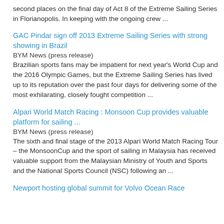second places on the final day of Act 8 of the Extreme Sailing Series in Florianopolis. In keeping with the ongoing crew ...
GAC Pindar sign off 2013 Extreme Sailing Series with strong showing in Brazil
BYM News (press release)
Brazilian sports fans may be impatient for next year's World Cup and the 2016 Olympic Games, but the Extreme Sailing Series has lived up to its reputation over the past four days for delivering some of the most exhilarating, closely fought competition ...
Alpari World Match Racing : Monsoon Cup provides valuable platform for sailing ...
BYM News (press release)
The sixth and final stage of the 2013 Alpari World Match Racing Tour – the MonsoonCup and the sport of sailing in Malaysia has received valuable support from the Malaysian Ministry of Youth and Sports and the National Sports Council (NSC) following an ...
Newport hosting global summit for Volvo Ocean Race